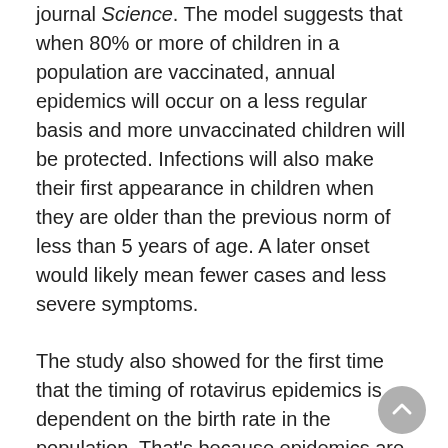journal Science. The model suggests that when 80% or more of children in a population are vaccinated, annual epidemics will occur on a less regular basis and more unvaccinated children will be protected. Infections will also make their first appearance in children when they are older than the previous norm of less than 5 years of age. A later onset would likely mean fewer cases and less severe symptoms.
The study also showed for the first time that the timing of rotavirus epidemics is dependent on the birth rate in the population. That's because epidemics are driven by infants who have never been infected before. The higher birth rates of the Southwest relative to the Northeast account for the earlier winter outbreaks there.
“Rotavirus vaccines have rapidly and dramatically reduced hospitalizations and emergency room visits for gastroenteritis in American children,” senior investigator D...